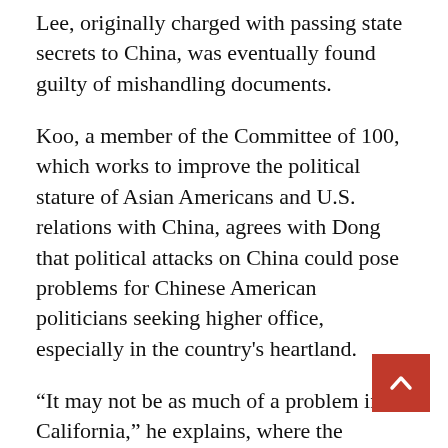Lee, originally charged with passing state secrets to China, was eventually found guilty of mishandling documents.
Koo, a member of the Committee of 100, which works to improve the political stature of Asian Americans and U.S. relations with China, agrees with Dong that political attacks on China could pose problems for Chinese American politicians seeking higher office, especially in the country's heartland.
“It may not be as much of a problem in California,” he explains, where the Chinese community has deep roots and where voters are more exposed to dealings with China. Nor in New York, which just elected its first-ever Asian American